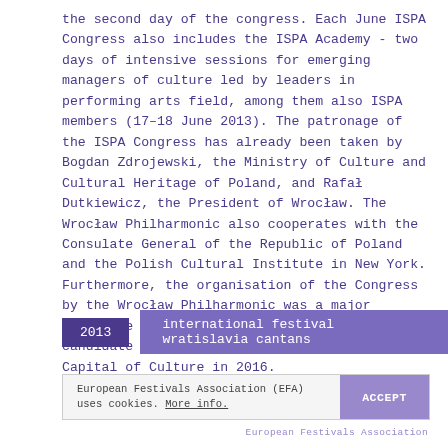the second day of the congress. Each June ISPA Congress also includes the ISPA Academy - two days of intensive sessions for emerging managers of culture led by leaders in performing arts field, among them also ISPA members (17–18 June 2013). The patronage of the ISPA Congress has already been taken by Bogdan Zdrojewski, the Ministry of Culture and Cultural Heritage of Poland, and Rafał Dutkiewicz, the President of Wrocław. The Wrocław Philharmonic also cooperates with the Consulate General of the Republic of Poland and the Polish Cultural Institute in New York. Furthermore, the organisation of the Congress by the Wrocław Philharmonic was a major advantage for the city of Wrocław as a candidate for the title of the European Capital of Culture in 2016.
2013
international festival wratislavia cantans
European Festivals Association (EFA) uses cookies. More info. ACCEPT
European Festivals Association